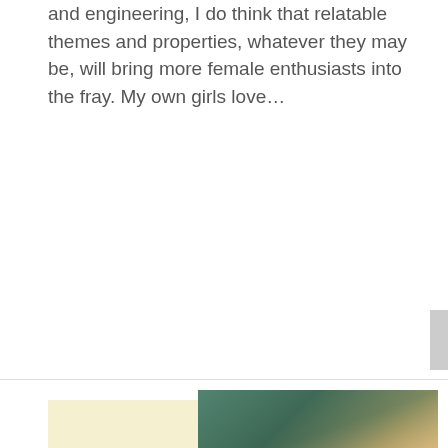and engineering, I do think that relatable themes and properties, whatever they may be, will bring more female enthusiasts into the fray. My own girls love...
[Figure (photo): A photo showing a person with teal/green hair leaning down, next to a cream/yellow colored area, partially cropped at the bottom of the page.]